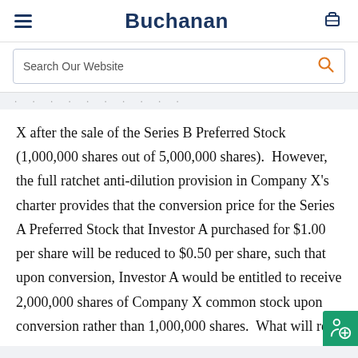Buchanan
Search Our Website
X after the sale of the Series B Preferred Stock (1,000,000 shares out of 5,000,000 shares).  However, the full ratchet anti-dilution provision in Company X's charter provides that the conversion price for the Series A Preferred Stock that Investor A purchased for $1.00 per share will be reduced to $0.50 per share, such that upon conversion, Investor A would be entitled to receive 2,000,000 shares of Company X common stock upon conversion rather than 1,000,000 shares.  What will re…